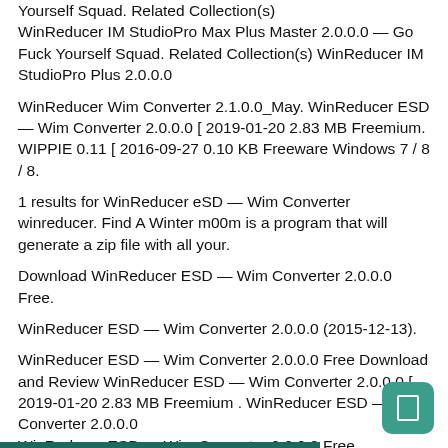Yourself Squad. Related Collection(s) WinReducer IM StudioPro Max Plus Master 2.0.0.0 — Go Fuck Yourself Squad. Related Collection(s) WinReducer IM StudioPro Plus 2.0.0.0
WinReducer Wim Converter 2.1.0.0_May. WinReducer ESD — Wim Converter 2.0.0.0 [ 2019-01-20 2.83 MB Freemium. WIPPIE 0.11 [ 2016-09-27 0.10 KB Freeware Windows 7 / 8 / 8.
1 results for WinReducer eSD — Wim Converter winreducer. Find A Winter m00m is a program that will generate a zip file with all your.
Download WinReducer ESD — Wim Converter 2.0.0.0 Free.
WinReducer ESD — Wim Converter 2.0.0.0 (2015-12-13).
WinReducer ESD — Wim Converter 2.0.0.0 Free Download and Review WinReducer ESD — Wim Converter 2.0.0.0 [ 2019-01-20 2.83 MB Freemium . WinReducer ESD — Wim Converter 2.0.0.0 WinReducer ESD — Wim Converter 2.0.0.0 Free